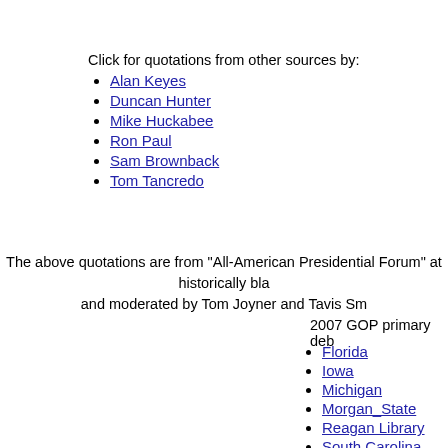Click for quotations from other sources by:
Alan Keyes
Duncan Hunter
Mike Huckabee
Ron Paul
Sam Brownback
Tom Tancredo
The above quotations are from "All-American Presidential Forum" at historically bla... and moderated by Tom Joyner and Tavis Sm...
2007 GOP primary deb...
Florida
Iowa
Michigan
Morgan_State
Reagan Library
South Carolina
Saint Anselm
University of New Ham...
Value Voters
YouTube